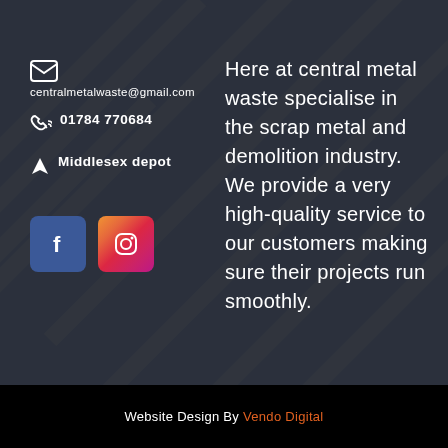centralmetalwaste@gmail.com
01784 770684
Middlesex depot
[Figure (logo): Facebook icon (blue square with white F)]
[Figure (logo): Instagram icon (gradient square with white camera outline)]
Here at central metal waste specialise in the scrap metal and demolition industry. We provide a very high-quality service to our customers making sure their projects run smoothly.
Website Design By Vendo Digital